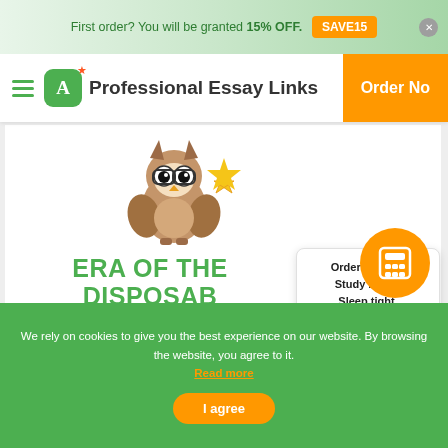First order? You will be granted 15% OFF. SAVE15
Professional Essay Links  Order Now
[Figure (illustration): Cartoon owl mascot wearing glasses and holding a gold star, sitting on a book]
ERA OF THE DISPOSABLE WORKER...
ERA OF THE DISPOSABLE WORKER...
Order a paper. Study better. Sleep tight. Calculate Price!
We rely on cookies to give you the best experience on our website. By browsing the website, you agree to it. Read more
I agree